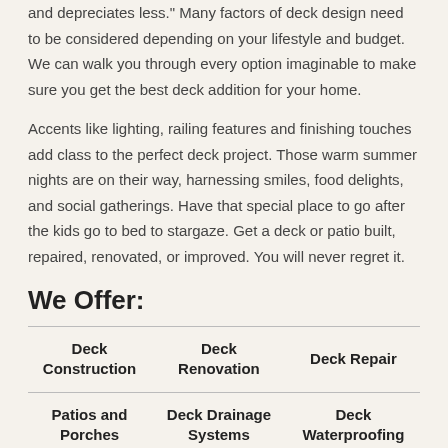and depreciates less." Many factors of deck design need to be considered depending on your lifestyle and budget. We can walk you through every option imaginable to make sure you get the best deck addition for your home.
Accents like lighting, railing features and finishing touches add class to the perfect deck project. Those warm summer nights are on their way, harnessing smiles, food delights, and social gatherings. Have that special place to go after the kids go to bed to stargaze. Get a deck or patio built, repaired, renovated, or improved. You will never regret it.
We Offer:
| Deck Construction | Deck Renovation | Deck Repair |
| Patios and Porches | Deck Drainage Systems | Deck Waterproofing |